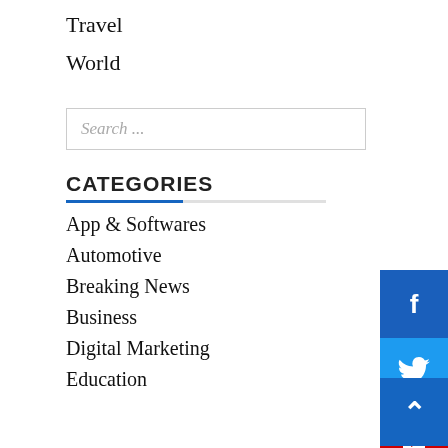Travel
World
Search ...
CATEGORIES
App & Softwares
Automotive
Breaking News
Business
Digital Marketing
Education
[Figure (infographic): Social media sidebar with Facebook (blue), Twitter (light blue), YouTube (red), Instagram (gray-blue) icons; and a blue back-to-top arrow button at bottom right]